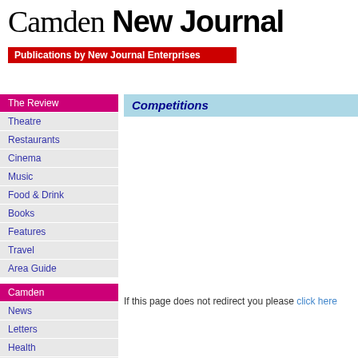Camden New Journal
Publications by New Journal Enterprises
The Review
Theatre
Restaurants
Cinema
Music
Food & Drink
Books
Features
Travel
Area Guide
Camden
News
Letters
Health
John Gulliver
Competitions
If this page does not redirect you please click here